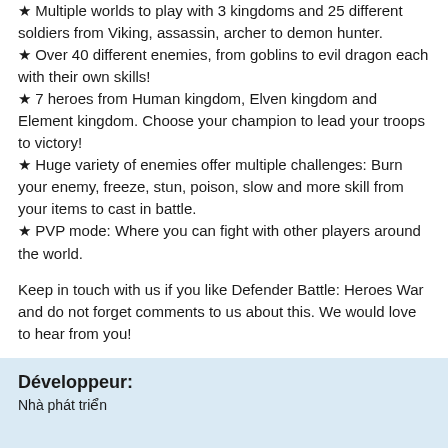★ Multiple worlds to play with 3 kingdoms and 25 different soldiers from Viking, assassin, archer to demon hunter.
★ Over 40 different enemies, from goblins to evil dragon each with their own skills!
★ 7 heroes from Human kingdom, Elven kingdom and Element kingdom. Choose your champion to lead your troops to victory!
★ Huge variety of enemies offer multiple challenges: Burn your enemy, freeze, stun, poison, slow and more skill from your items to cast in battle.
★ PVP mode: Where you can fight with other players around the world.
Keep in touch with us if you like Defender Battle: Heroes War and do not forget comments to us about this. We would love to hear from you!
Visit us on Facebook at:
https://www.facebook.com/realmbattle
Développeur:
Nhà phát triển